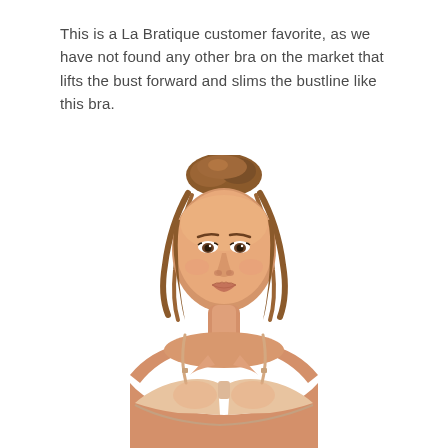This is a La Bratique customer favorite, as we have not found any other bra on the market that lifts the bust forward and slims the bustline like this bra.
[Figure (photo): A woman with auburn hair in a bun, wearing a nude/beige strapless push-up bra, photographed against a white background from the chest up.]